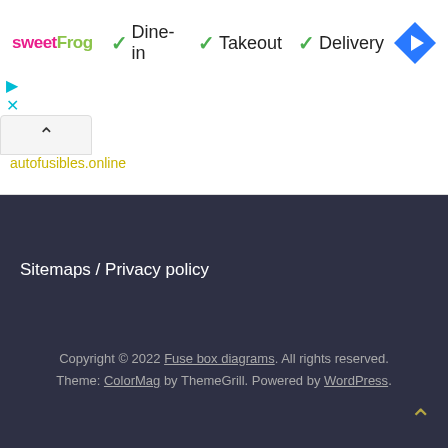[Figure (screenshot): sweetFrog logo with pink 'sweet' and green 'Frog' text, followed by green checkmarks next to 'Dine-in', 'Takeout', 'Delivery', and a blue diamond navigation icon on the right]
▷
✕
^
autofusibles.online
Sitemaps / Privacy policy
Copyright © 2022 Fuse box diagrams. All rights reserved. Theme: ColorMag by ThemeGrill. Powered by WordPress.